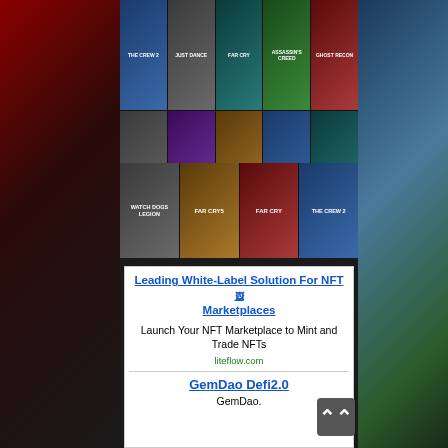[Figure (illustration): Games list promotional banner image showing mosaic of video game covers (The Crew 2, Far Cry 5, Watch Dogs Legion, Ghost Recon, Far Cry) with large 'GAMES LIST' text overlay in white with black outline. The image is centered against a dark background with dark red/fantasy scene on left and nature scene on right.]
Leading White-Label Solution For NFT Marketplaces
Launch Your NFT Marketplace to Mint and Trade NFTs
liteflow.com
GemDao Defi2.0
GemDao.